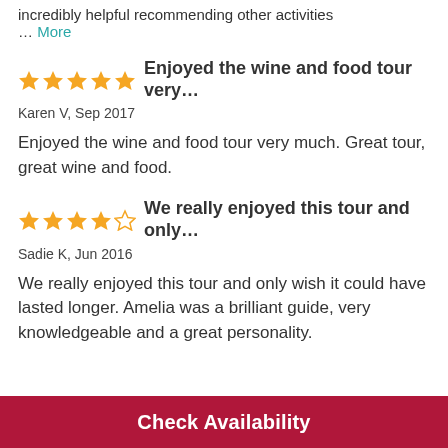incredibly helpful recommending other activities … More
Enjoyed the wine and food tour very…
Karen V, Sep 2017
Enjoyed the wine and food tour very much. Great tour, great wine and food.
We really enjoyed this tour and only…
Sadie K, Jun 2016
We really enjoyed this tour and only wish it could have lasted longer. Amelia was a brilliant guide, very knowledgeable and a great personality.
Check Availability